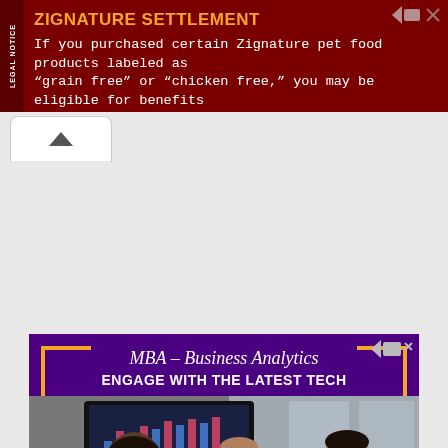[Figure (other): Legal notice advertisement banner for Zignature Settlement on dark red background with vertical 'LEGAL NOTICE' text on left side. Headline in orange: 'ZIGNATURE SETTLEMENT'. Body text in white: 'If you purchased certain Zignature pet food products labeled as "grain free" or "chicken free," you may be eligible for benefits']
[Figure (other): MBA Business Analytics advertisement for High Point University. Purple background with orange corner brackets, photo of three people in business meeting with bar chart on screen behind them. Text: 'MBA – Business Analytics', 'ENGAGE WITH THE LATEST TECH', orange 'APPLY NOW' button, 'HIGH POINT UNIVERSITY' at bottom.]